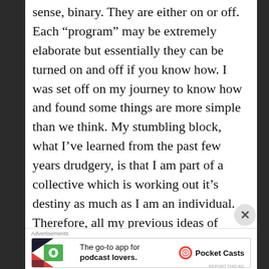sense, binary. They are either on or off. Each “program” may be extremely elaborate but essentially they can be turned on and off if you know how. I was set off on my journey to know how and found some things are more simple than we think. My stumbling block, what I’ve learned from the past few years drudgery, is that I am part of a collective which is working out it’s destiny as much as I am an individual. Therefore, all my previous ideas of being a lone eagle above it all choosing only my own Destiny were thrown into question. That was
Advertisements
[Figure (other): Pocket Casts advertisement banner: 'The go-to app for podcast lovers.' with Pocket Casts logo]